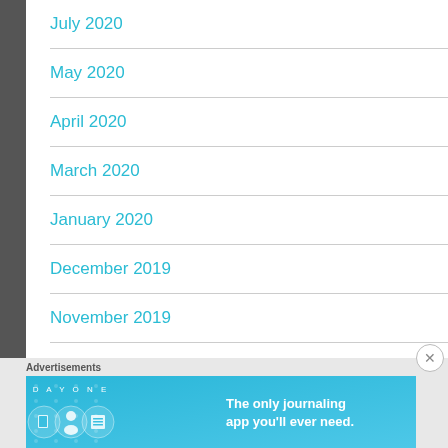July 2020
May 2020
April 2020
March 2020
January 2020
December 2019
November 2019
Advertisements
[Figure (illustration): Day One journaling app advertisement banner with blue background, app icon circles, and text 'The only journaling app you'll ever need.']